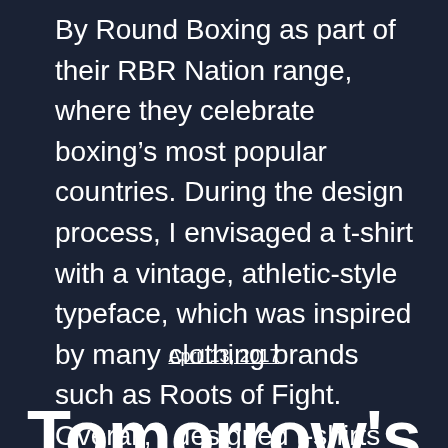By Round Boxing as part of their RBR Nation range, where they celebrate boxing's most popular countries. During the design process, I envisaged a t-shirt with a vintage, athletic-style typeface, which was inspired by many clothing brands such as Roots of Fight. Overall, I designed t-shirts featuring Cuba, [...]
April 13, 2017
Tomorrow's